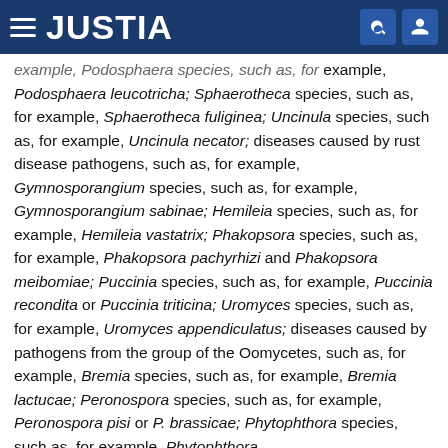JUSTIA
example, Podosphaera leucotricha; Sphaerotheca species, such as, for example, Sphaerotheca fuliginea; Uncinula species, such as, for example, Uncinula necator; diseases caused by rust disease pathogens, such as, for example, Gymnosporangium species, such as, for example, Gymnosporangium sabinae; Hemileia species, such as, for example, Hemileia vastatrix; Phakopsora species, such as, for example, Phakopsora pachyrhizi and Phakopsora meibomiae; Puccinia species, such as, for example, Puccinia recondita or Puccinia triticina; Uromyces species, such as, for example, Uromyces appendiculatus; diseases caused by pathogens from the group of the Oomycetes, such as, for example, Bremia species, such as, for example, Bremia lactucae; Peronospora species, such as, for example, Peronospora pisi or P. brassicae; Phytophthora species, such as, for example, Phytophthora